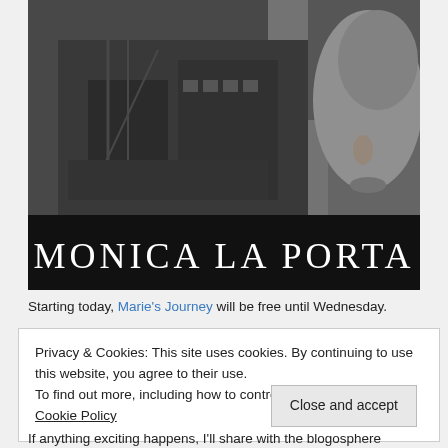[Figure (illustration): Book cover for a Monica La Porta novel — black and white image of a woman's face and an industrial/ruins scene, with the author name 'MONICA LA PORTA' in large serif text on a dark band at the bottom]
Starting today, Marie's Journey will be free until Wednesday.
Privacy & Cookies: This site uses cookies. By continuing to use this website, you agree to their use.
To find out more, including how to control cookies, see here: Cookie Policy
Close and accept
If anything exciting happens, I'll share with the blogosphere